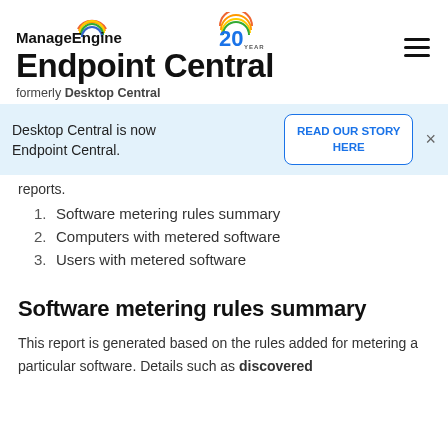ManageEngine Endpoint Central formerly Desktop Central
Desktop Central is now Endpoint Central.
READ OUR STORY HERE
reports.
1. Software metering rules summary
2. Computers with metered software
3. Users with metered software
Software metering rules summary
This report is generated based on the rules added for metering a particular software. Details such as discovered